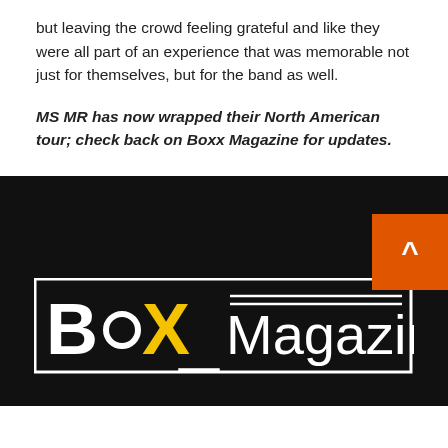but leaving the crowd feeling grateful and like they were all part of an experience that was memorable not just for themselves, but for the band as well.
MS MR has now wrapped their North American tour; check back on Boxx Magazine for updates.
[Figure (logo): Boxx Magazine logo: white text on black background with yellow X, inside a white border rectangle. An orange back-to-top arrow button appears at top right.]